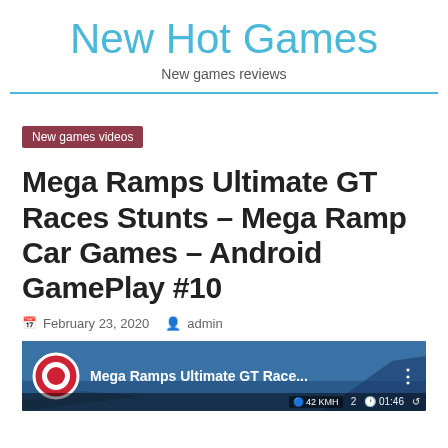New Hot Games
New games reviews
New games videos
Mega Ramps Ultimate GT Races Stunts – Mega Ramp Car Games – Android GamePlay #10
February 23, 2020   admin
[Figure (screenshot): Video thumbnail showing Mega Ramps Ultimate GT Race... with a red target logo icon on a dark blue sky background, bottom bar with game stats (42 KMH, 2, 01:46) and a three-dot menu icon.]